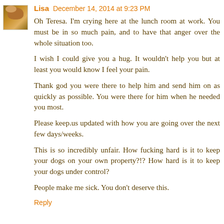Lisa December 14, 2014 at 9:23 PM
Oh Teresa. I'm crying here at the lunch room at work. You must be in so much pain, and to have that anger over the whole situation too.
I wish I could give you a hug. It wouldn't help you but at least you would know I feel your pain.
Thank god you were there to help him and send him on as quickly as possible. You were there for him when he needed you most.
Please keep.us updated with how you are going over the next few days/weeks.
This is so incredibly unfair. How fucking hard is it to keep your dogs on your own property?!? How hard is it to keep your dogs under control?
People make me sick. You don't deserve this.
Reply